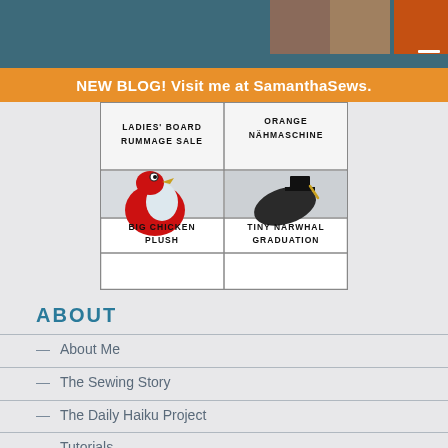[Figure (screenshot): Top teal/dark blue header bar with partial images of craft/sewing items]
NEW BLOG! Visit me at SamanthaSews.
[Figure (table-as-image): 2x2 grid of featured blog post thumbnails: LADIES' BOARD RUMMAGE SALE, ORANGE NÄHMASCHINE, BIG CHICKEN PLUSH, TINY NARWHAL GRADUATION]
ABOUT
About Me
The Sewing Story
The Daily Haiku Project
Tutorials